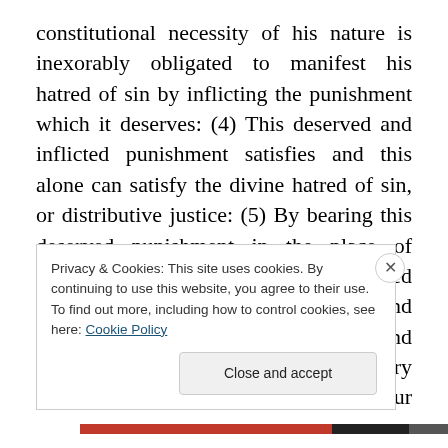constitutional necessity of his nature is inexorably obligated to manifest his hatred of sin by inflicting the punishment which it deserves: (4) This deserved and inflicted punishment satisfies and this alone can satisfy the divine hatred of sin, or distributive justice: (5) By bearing this deserved punishment in the place of sinners, Christ gave the required satisfaction to the divine justice, and thereby laid the ground for the pardon and salvation of them that believe. This theory certainly has much to commend it to our belief. By its profounder views of sin, and of the divine
Privacy & Cookies: This site uses cookies. By continuing to use this website, you agree to their use.
To find out more, including how to control cookies, see here: Cookie Policy